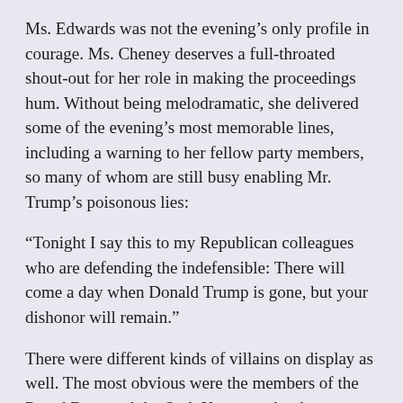Ms. Edwards was not the evening's only profile in courage. Ms. Cheney deserves a full-throated shout-out for her role in making the proceedings hum. Without being melodramatic, she delivered some of the evening's most memorable lines, including a warning to her fellow party members, so many of whom are still busy enabling Mr. Trump's poisonous lies:
“Tonight I say this to my Republican colleagues who are defending the indefensible: There will come a day when Donald Trump is gone, but your dishonor will remain.”
There were different kinds of villains on display as well. The most obvious were the members of the Proud Boys and the Oath Keepers who threw themselves into the riot. Via video clips and testimony (including the in-person appearance by a documentary filmmaker who